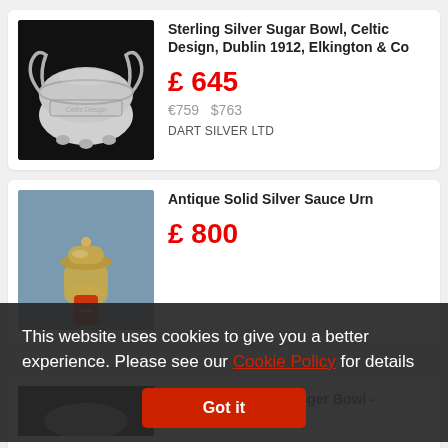[Figure (photo): Sterling silver sugar bowl with Celtic dragon handles, photographed on black background]
Sterling Silver Sugar Bowl, Celtic Design, Dublin 1912, Elkington & Co
£ 645
€759   $763
DART SILVER LTD
[Figure (photo): Antique solid silver sauce urn with lid, photographed on grey-blue background]
Antique Solid Silver Sauce Urn
£ 800
This website uses cookies to give you a better experience. Please see our Cookie Policy for details
Got it
[Figure (photo): Partial view of Sterling Silver Porringer Bowl, black background]
Sterling Silver Porringer Bowl - Carrington & Co